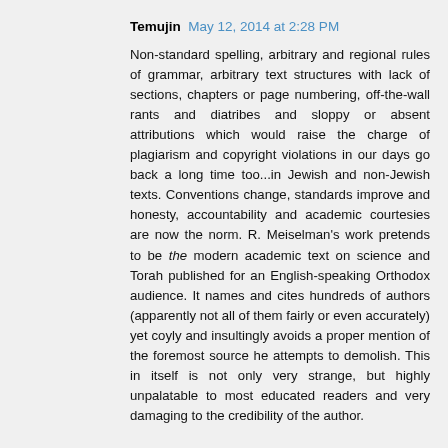Temujin  May 12, 2014 at 2:28 PM
Non-standard spelling, arbitrary and regional rules of grammar, arbitrary text structures with lack of sections, chapters or page numbering, off-the-wall rants and diatribes and sloppy or absent attributions which would raise the charge of plagiarism and copyright violations in our days go back a long time too...in Jewish and non-Jewish texts. Conventions change, standards improve and honesty, accountability and academic courtesies are now the norm. R. Meiselman's work pretends to be the modern academic text on science and Torah published for an English-speaking Orthodox audience. It names and cites hundreds of authors (apparently not all of them fairly or even accurately) yet coyly and insultingly avoids a proper mention of the foremost source he attempts to demolish. This in itself is not only very strange, but highly unpalatable to most educated readers and very damaging to the credibility of the author.